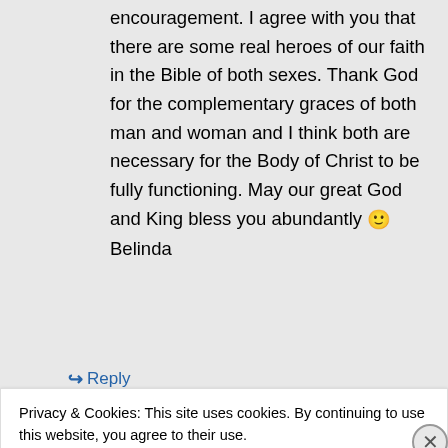encouragement. I agree with you that there are some real heroes of our faith in the Bible of both sexes. Thank God for the complementary graces of both man and woman and I think both are necessary for the Body of Christ to be fully functioning. May our great God and King bless you abundantly 🙂
Belinda
↪ Reply
Privacy & Cookies: This site uses cookies. By continuing to use this website, you agree to their use.
To find out more, including how to control cookies, see here: Cookie Policy
Close and accept